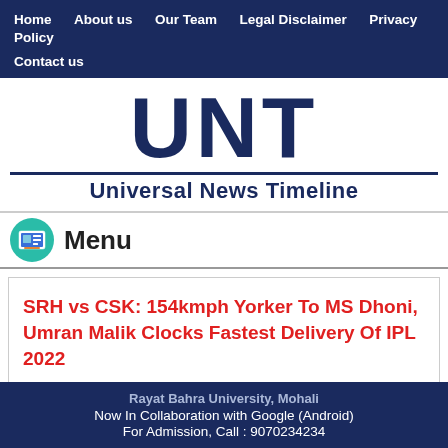Home   About us   Our Team   Legal Disclaimer   Privacy Policy   Contact us
[Figure (logo): UNT - Universal News Timeline logo with large bold UNT letters above a horizontal rule and subtitle text]
Menu
SRH vs CSK: 154kmph Yorker To MS Dhoni, Umran Malik Clocks Fastest Delivery Of IPL 2022
Rayat Bahra University, Mohali
Now In Collaboration with Google (Android)
For Admission, Call : 9070234234